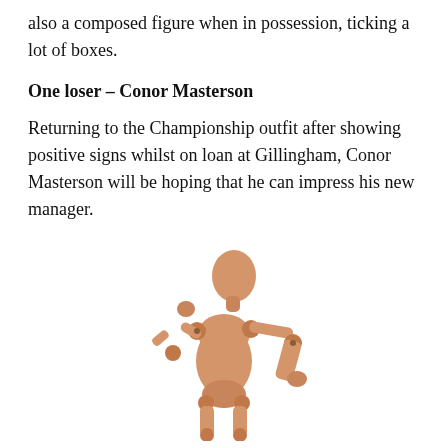also a composed figure when in possession, ticking a lot of boxes.
One loser – Conor Masterson
Returning to the Championship outfit after showing positive signs whilst on loan at Gillingham, Conor Masterson will be hoping that he can impress his new manager.
[Figure (illustration): A wooden artist mannequin figure posed with one hand on chin in a thinking pose and the other hand on hip, against a white background.]
Research Rheumatoid Arthritis Medication. See Rheumatoid Arthriti...